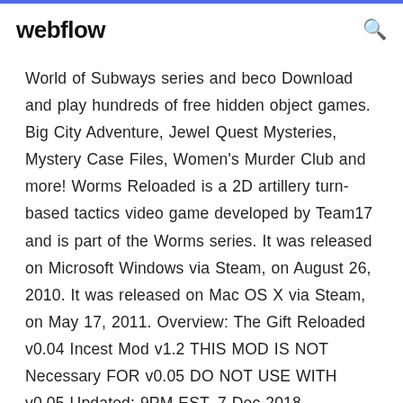webflow
World of Subways series and beco Download and play hundreds of free hidden object games. Big City Adventure, Jewel Quest Mysteries, Mystery Case Files, Women's Murder Club and more! Worms Reloaded is a 2D artillery turn-based tactics video game developed by Team17 and is part of the Worms series. It was released on Microsoft Windows via Steam, on August 26, 2010. It was released on Mac OS X via Steam, on May 17, 2011. Overview: The Gift Reloaded v0.04 Incest Mod v1.2 THIS MOD IS NOT Necessary FOR v0.05 DO NOT USE WITH v0.05 Updated: 9PM EST, 7 Dec 2018 Game/Creator A new expansion to the legendary RTS brings....